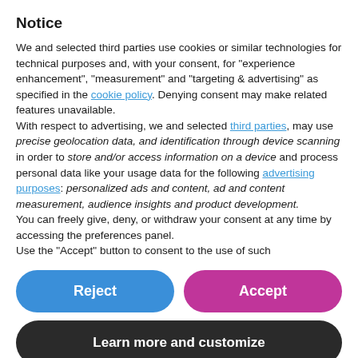Notice
We and selected third parties use cookies or similar technologies for technical purposes and, with your consent, for "experience enhancement", "measurement" and "targeting & advertising" as specified in the cookie policy. Denying consent may make related features unavailable.
With respect to advertising, we and selected third parties, may use precise geolocation data, and identification through device scanning in order to store and/or access information on a device and process personal data like your usage data for the following advertising purposes: personalized ads and content, ad and content measurement, audience insights and product development.
You can freely give, deny, or withdraw your consent at any time by accessing the preferences panel.
Use the "Accept" button to consent to the use of such
Reject
Accept
Learn more and customize